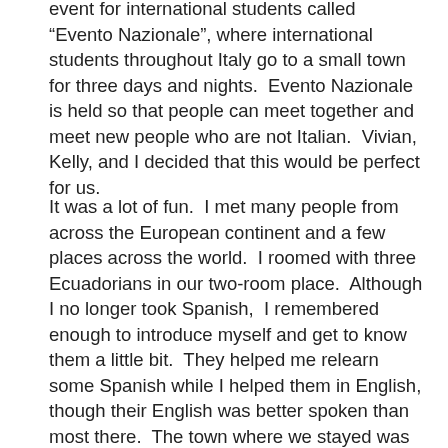event for international students called “Evento Nazionale”, where international students throughout Italy go to a small town for three days and nights.  Evento Nazionale is held so that people can meet together and meet new people who are not Italian.  Vivian, Kelly, and I decided that this would be perfect for us.
It was a lot of fun.  I met many people from across the European continent and a few places across the world.  I roomed with three Ecuadorians in our two-room place.  Although I no longer took Spanish,  I remembered enough to introduce myself and get to know them a little bit.  They helped me relearn some Spanish while I helped them in English, though their English was better spoken than most there.  The town where we stayed was very small; it contained only one supermarket, a water park, and the hotel where we were staying at.  We were not even two minutes away from a rocky beach, where the event organizers had